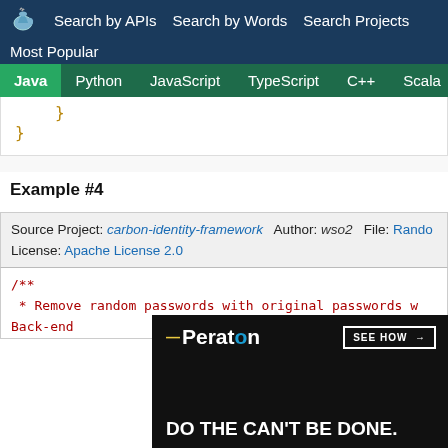Search by APIs  Search by Words  Search Projects  Most Popular
Java  Python  JavaScript  TypeScript  C++  Scala
}
}
Example #4
Source Project: carbon-identity-framework  Author: wso2  File: Rando  License: Apache License 2.0
/**
 * Remove random passwords with original passwords w Back-end
 *
[Figure (screenshot): Peraton advertisement banner: 'DO THE CAN'T BE DONE.' with SEE HOW button on dark background]